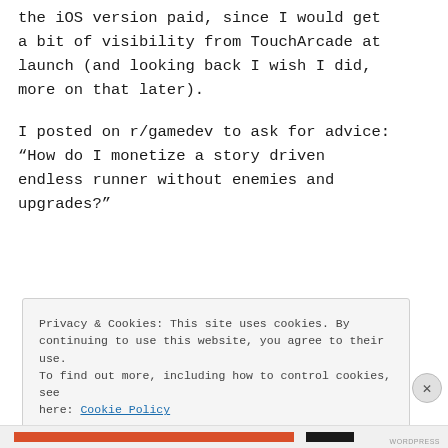At this point I briefly considered making the iOS version paid, since I would get a bit of visibility from TouchArcade at launch (and looking back I wish I did, more on that later).
I posted on r/gamedev to ask for advice: “How do I monetize a story driven endless runner without enemies and upgrades?”
Privacy & Cookies: This site uses cookies. By continuing to use this website, you agree to their use. To find out more, including how to control cookies, see here: Cookie Policy
Close and accept